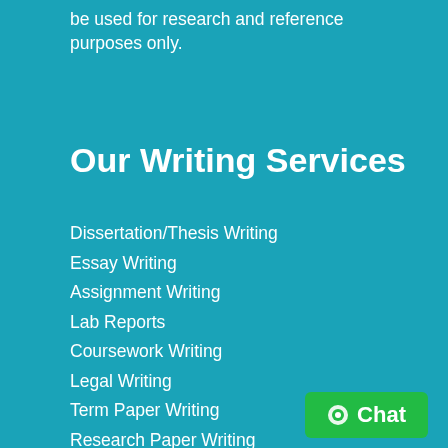be used for research and reference purposes only.
Our Writing Services
Dissertation/Thesis Writing
Essay Writing
Assignment Writing
Lab Reports
Coursework Writing
Legal Writing
Term Paper Writing
Research Paper Writing
Essay Writing